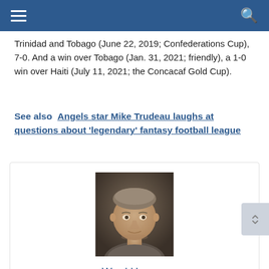Navigation bar with hamburger menu and search icon
Trinidad and Tobago (June 22, 2019; Confederations Cup), 7-0. And a win over Tobago (Jan. 31, 2021; friendly), a 1-0 win over Haiti (July 11, 2021; the Concacaf Gold Cup).
See also  Angels star Mike Trudeau laughs at questions about 'legendary' fantasy football league
[Figure (photo): Headshot photo of a man with short brown/grey hair wearing a dark shirt, looking directly at the camera against a blurred background]
Ward Herrera
"Total coffee junkie. Tv ninja. Unapologetic problem solver